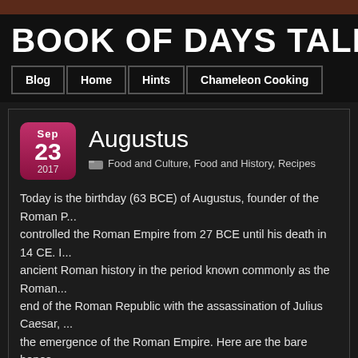BOOK OF DAYS TALES
Blog | Home | Hints | Chameleon Cooking
Augustus
Food and Culture, Food and History, Recipes
Today is the birthday (63 BCE) of Augustus, founder of the Roman P... controlled the Roman Empire from 27 BCE until his death in 14 CE. ancient Roman history in the period known commonly as the Roman... end of the Roman Republic with the assassination of Julius Caesar, the emergence of the Roman Empire. Here are the bare bones.
Augustus was born Gaius Octavius into an old and wealthy equestri...